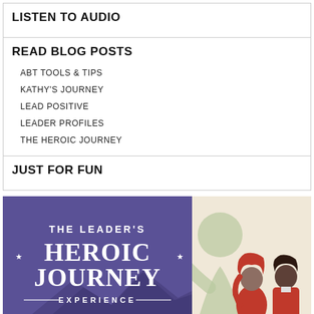LISTEN TO AUDIO
READ BLOG POSTS
ABT TOOLS & TIPS
KATHY'S JOURNEY
LEAD POSITIVE
LEADER PROFILES
THE HEROIC JOURNEY
JUST FOR FUN
[Figure (illustration): The Leader's Heroic Journey Experience book/program cover with purple background, white text, decorative stars, mountain silhouette, and two illustrated characters — a woman with red hair and a man in a red jacket — on a light beige background with a green figure silhouette.]